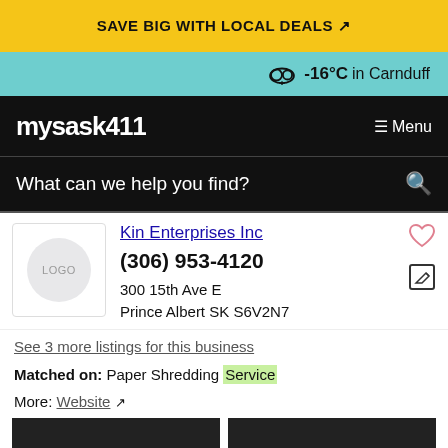SAVE BIG WITH LOCAL DEALS ↗
-16°C in Carnduff
mysask411  ≡ Menu
What can we help you find?
Kin Enterprises Inc
(306) 953-4120
300 15th Ave E
Prince Albert SK S6V2N7
See 3 more listings for this business
Matched on: Paper Shredding Service
More: Website ↗